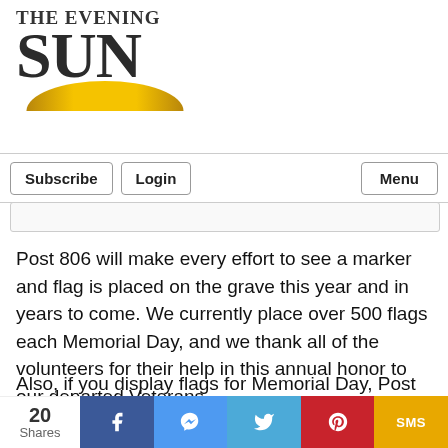[Figure (logo): The Evening Sun newspaper logo with large bold SUN text and golden arc beneath]
Subscribe | Login | Menu
Post 806 will make every effort to see a marker and flag is placed on the grave this year and in years to come. We currently place over 500 flags each Memorial Day, and we thank all of the volunteers for their help in this annual honor to our departed Veterans.
Also, if you display flags for Memorial Day, Post 806 sells good quality 3 by 5 foot American Flags. The sale of United States flags is one of our fundraisers, so buying a
[Figure (infographic): Social share bar showing 20 Shares, with buttons for Facebook, Messenger, Twitter, Pinterest, and SMS]